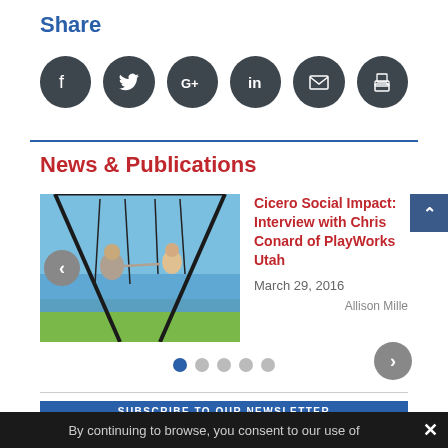Share
[Figure (infographic): Row of 6 dark circular social share icons: Facebook, Twitter, Google+, LinkedIn, Email, Print]
News & Publications
[Figure (photo): Two people on swings over water, blue sky background]
Cicero Social Impact: Interview with Chris Conard of PlayWorks Utah
March 29, 2016
Allison Mille
SUBSCRIBE TO OUR NEWSLETTER
By continuing to browse, you consent to our use of